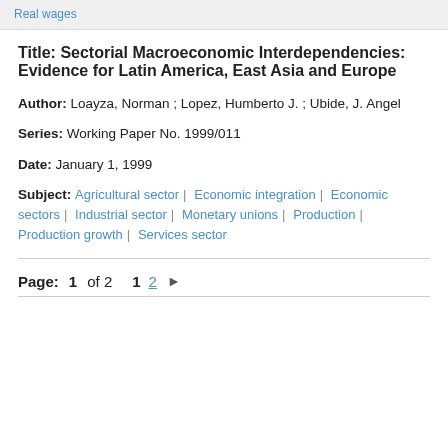Real wages
Title: Sectorial Macroeconomic Interdependencies: Evidence for Latin America, East Asia and Europe
Author: Loayza, Norman ; Lopez, Humberto J. ; Ubide, J. Angel
Series: Working Paper No. 1999/011
Date: January 1, 1999
Subject: Agricultural sector | Economic integration | Economic sectors | Industrial sector | Monetary unions | Production | Production growth | Services sector
Page: 1 of 2   1  2  ▶